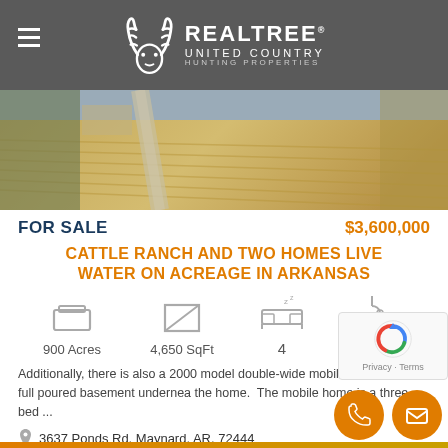REALTREE UNITED COUNTRY HUNTING PROPERTIES
[Figure (photo): Aerial view of farmland/fields with a road running through, muted golden-brown tones]
FOR SALE   $3,600,000
CATTLE RANCH AND TWO HOMES LIVE WATER ON ACREAGE IN ARKANSAS
900 Acres   4,650 SqFt   4 (bedrooms)   3 (bathrooms)
Additionally, there is also a 2000 model double-wide mobile home with a full poured basement underneath the home.  The mobile home is a three bed ...
3637 Ponds Rd, Maynard, AR, 72444